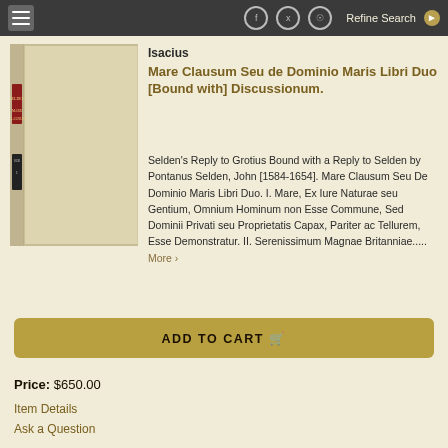Refine Search
[Figure (photo): Photograph of an old bound book with light cream/tan cloth cover and a red and black label on the spine reading 'SELDEN MARE CLAUSUM' with date 1636]
Isacius
Mare Clausum Seu de Dominio Maris Libri Duo [Bound with] Discussionum.
Selden's Reply to Grotius Bound with a Reply to Selden by Pontanus Selden, John [1584-1654]. Mare Clausum Seu De Dominio Maris Libri Duo. I. Mare, Ex Iure Naturae seu Gentium, Omnium Hominum non Esse Commune, Sed Dominii Privati seu Proprietatis Capax, Pariter ac Tellurem, Esse Demonstratur. II. Serenissimum Magnae Britanniae..... More >
ADD TO CART
Price: $650.00
Item Details
Ask a Question